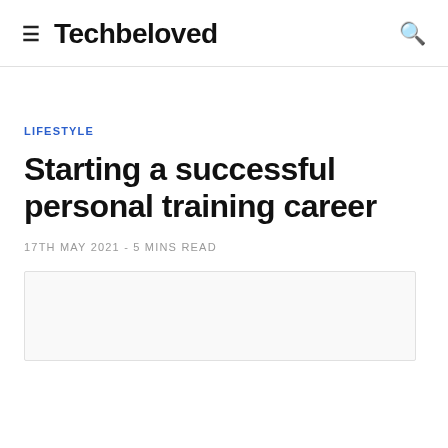Techbeloved
LIFESTYLE
Starting a successful personal training career
17TH MAY 2021 - 5 MINS READ
[Figure (photo): Article featured image placeholder, light gray box with border]